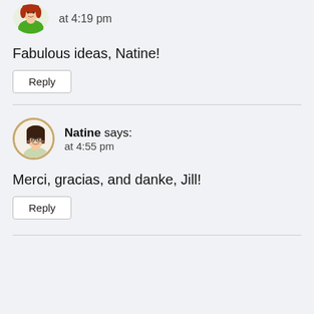[Figure (illustration): Circular avatar of a woman with red hair wearing a green top, partially cropped at top]
at 4:19 pm
Fabulous ideas, Natine!
Reply
[Figure (illustration): Circular avatar of Natine, a cartoon woman with brown hair and glasses, surrounded by a tan/gold ring border]
Natine says:
at 4:55 pm
Merci, gracias, and danke, Jill!
Reply